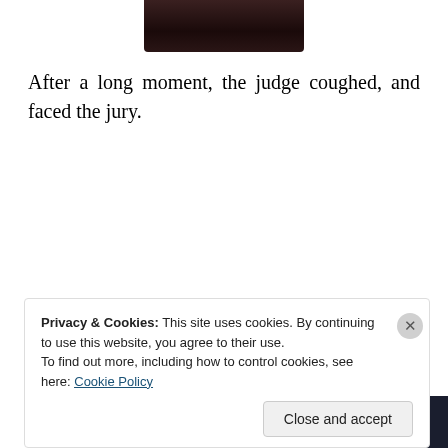[Figure (photo): Partial dark photo visible at top center of page, cropped]
After a long moment, the judge coughed, and faced the jury.
[Figure (other): Advertisement for Sensei plugin: 'Launch your online course with WordPress' with a 'Learn More' button on dark navy background]
Privacy & Cookies: This site uses cookies. By continuing to use this website, you agree to their use.
To find out more, including how to control cookies, see here: Cookie Policy